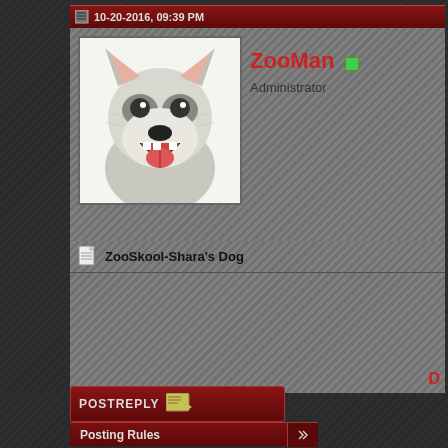10-20-2016, 09:39 PM
[Figure (illustration): Avatar image of a husky/wolf dog drawing, black and white sketch style, dog appears to be smiling/panting]
ZooMan Administrator
ZooSkool-Shara's Dog
[Figure (screenshot): Post Reply button with icon]
Posting Rules